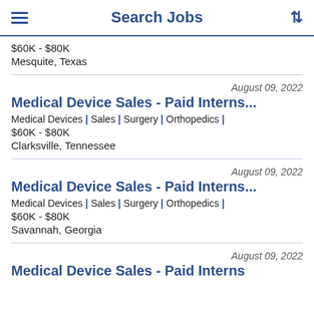Search Jobs
$60K - $80K
Mesquite, Texas
August 09, 2022
Medical Device Sales - Paid Interns...
Medical Devices | Sales | Surgery | Orthopedics |
$60K - $80K
Clarksville, Tennessee
August 09, 2022
Medical Device Sales - Paid Interns...
Medical Devices | Sales | Surgery | Orthopedics |
$60K - $80K
Savannah, Georgia
August 09, 2022
Medical Device Sales - Paid Interns